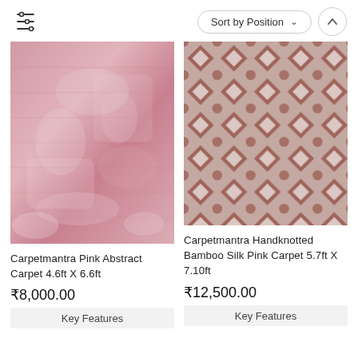[Figure (screenshot): Filter/sort controls: filter icon on left, 'Sort by Position' dropdown and up-arrow button on right]
[Figure (photo): Carpetmantra Pink Abstract Carpet — soft pink abstract textured carpet]
Carpetmantra Pink Abstract Carpet 4.6ft X 6.6ft
₹8,000.00
[Figure (photo): Carpetmantra Handknotted Bamboo Silk Pink Carpet — geometric diamond tile pattern in rose/brown tones]
Carpetmantra Handknotted Bamboo Silk Pink Carpet 5.7ft X 7.10ft
₹12,500.00
Key Features
Key Features